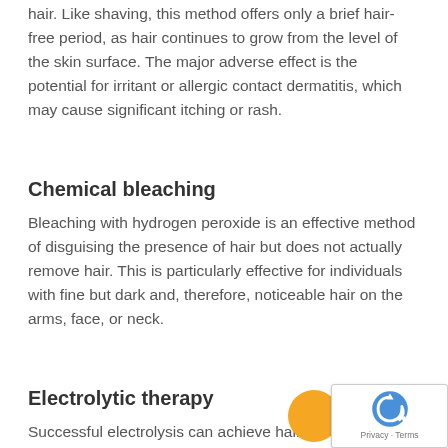hair. Like shaving, this method offers only a brief hair-free period, as hair continues to grow from the level of the skin surface. The major adverse effect is the potential for irritant or allergic contact dermatitis, which may cause significant itching or rash.
Chemical bleaching
Bleaching with hydrogen peroxide is an effective method of disguising the presence of hair but does not actually remove hair. This is particularly effective for individuals with fine but dark and, therefore, noticeable hair on the arms, face, or neck.
Electrolytic therapy
Successful electrolysis can achieve hair follicle destruction to some degree in 15-80% of patients. Galvanic electrolysis can be...